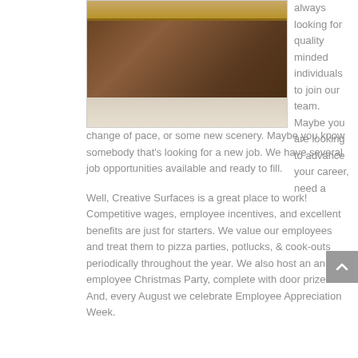[Figure (photo): A person holding onto a wooden desk or counter, partial view showing hands and dark wood furniture in what appears to be an office or retail setting.]
always looking for quality minded individuals to join our team.  Maybe you are looking to advance your career, need a change of pace, or some new scenery. Maybe you know somebody that's looking for a new job.  We have several job opportunities available and ready to fill.
Well, Creative Surfaces is a great place to work! Competitive wages, employee incentives, and excellent benefits are just for starters. We value our employees and treat them to pizza parties, potlucks, & cook-outs periodically throughout the year. We also host an annual employee Christmas Party, complete with door prizes. And, every August we celebrate Employee Appreciation Week.